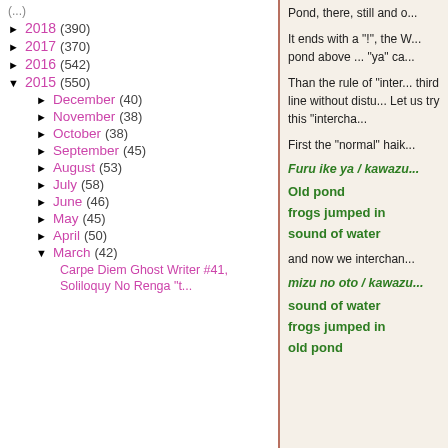► 2018 (390)
► 2017 (370)
► 2016 (542)
▼ 2015 (550)
► December (40)
► November (38)
► October (38)
► September (45)
► August (53)
► July (58)
► June (46)
► May (45)
► April (50)
▼ March (42)
Carpe Diem Ghost Writer #41, Soliloquy No Renga "t...
Pond, there, still and o...
It ends with a "!", the W... pond above ... "ya" ca...
Than the rule of "inter... third line without distu... Let us try this "intercha...
First the "normal" haik...
Furu ike ya / kawazu...
Old pond
frogs jumped in
sound of water
and now we interchan...
mizu no oto / kawazu...
sound of water
frogs jumped in
old pond